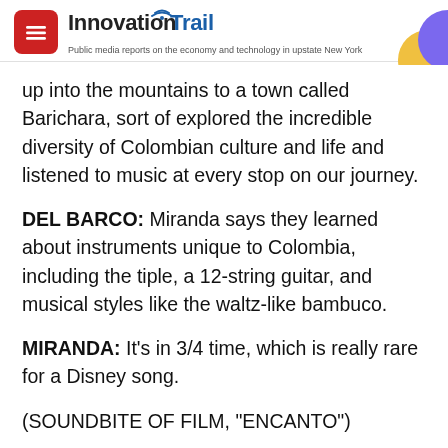InnovationTrail — Public media reports on the economy and technology in upstate New York
up into the mountains to a town called Barichara, sort of explored the incredible diversity of Colombian culture and life and listened to music at every stop on our journey.
DEL BARCO: Miranda says they learned about instruments unique to Colombia, including the tiple, a 12-string guitar, and musical styles like the waltz-like bambuco.
MIRANDA: It's in 3/4 time, which is really rare for a Disney song.
(SOUNDBITE OF FILM, "ENCANTO")
BEATRIZ: (As Mirabel, singing) It...